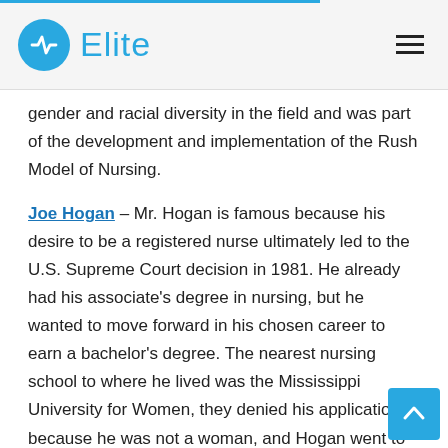Elite
gender and racial diversity in the field and was part of the development and implementation of the Rush Model of Nursing.
Joe Hogan – Mr. Hogan is famous because his desire to be a registered nurse ultimately led to the U.S. Supreme Court decision in 1981. He already had his associate's degree in nursing, but he wanted to move forward in his chosen career to earn a bachelor's degree. The nearest nursing school to where he lived was the Mississippi University for Women, they denied his application because he was not a woman, and Hogan went to court in 1979 citing a violation of his 14th Amendment right. Following the Court's ruling, in 1982 Hogan went on to